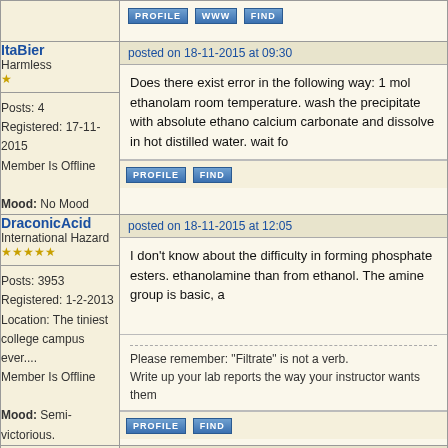PROFILE  WWW  FIND
ItaBier
Harmless
*
Posts: 4
Registered: 17-11-2015
Member Is Offline
Mood: No Mood
posted on 18-11-2015 at 09:30
Does there exist error in the following way: 1 mol ethanolam room temperature. wash the precipitate with absolute ethano calcium carbonate and dissolve in hot distilled water. wait fo
PROFILE  FIND
DraconicAcid
International Hazard
★★★★★
Posts: 3953
Registered: 1-2-2013
Location: The tiniest college campus ever....
Member Is Offline
Mood: Semi-victorious.
posted on 18-11-2015 at 12:05
I don't know about the difficulty in forming phosphate esters. ethanolamine than from ethanol. The amine group is basic, a
Please remember: "Filtrate" is not a verb.
Write up your lab reports the way your instructor wants them
PROFILE  FIND
Marvin
posted on 18-11-2015 at 13:10